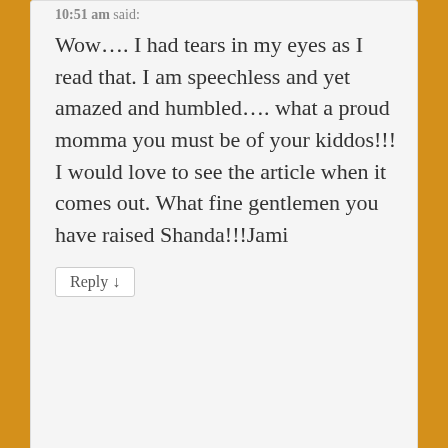10:51 am said:
Wow.... I had tears in my eyes as I read that. I am speechless and yet amazed and humbled.... what a proud momma you must be of your kiddos!!! I would love to see the article when it comes out. What fine gentlemen you have raised Shanda!!!Jami
Reply ↓
[Figure (illustration): Green and white geometric quilt-pattern avatar/identicon]
Elizabethmarie_1 on March 20, 2013 at 10:37 am said:
Wow!!! What an amazing story!How perfect that God had you on your porch at just the right time. No reason to blush about your kids being in the paper...they deserve to be.I